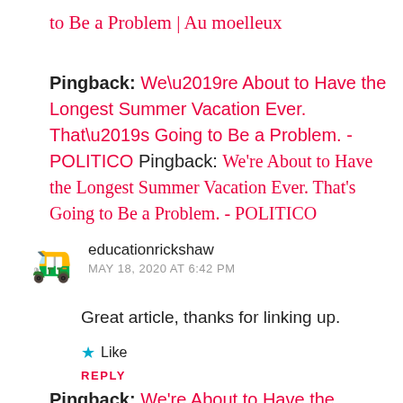to Be a Problem | Au moelleux
Pingback: We’re About to Have the Longest Summer Vacation Ever. That’s Going to Be a Problem. - POLITICO
educationrickshaw
MAY 18, 2020 AT 6:42 PM
Great article, thanks for linking up.
★ Like
REPLY
Pingback: We’re About to Have the Longest Summer Vacation Ever. That’s